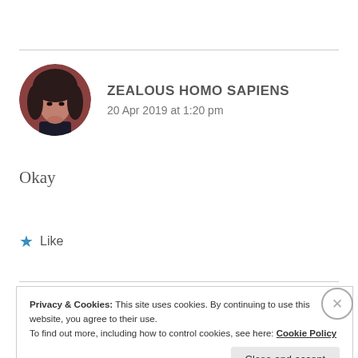[Figure (photo): Circular avatar image of a person with dark hair, reddish-brown tones]
ZEALOUS HOMO SAPIENS
20 Apr 2019 at 1:20 pm
Okay
★ Like
Privacy & Cookies: This site uses cookies. By continuing to use this website, you agree to their use.
To find out more, including how to control cookies, see here: Cookie Policy
Close and accept